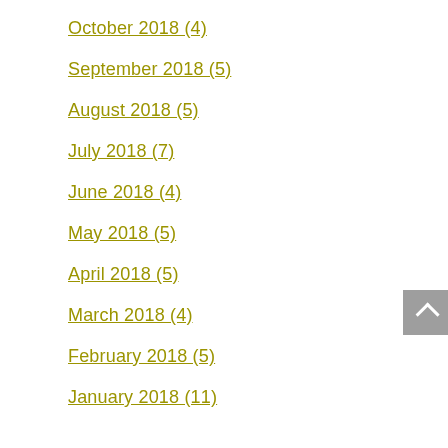October 2018 (4)
September 2018 (5)
August 2018 (5)
July 2018 (7)
June 2018 (4)
May 2018 (5)
April 2018 (5)
March 2018 (4)
February 2018 (5)
January 2018 (11)